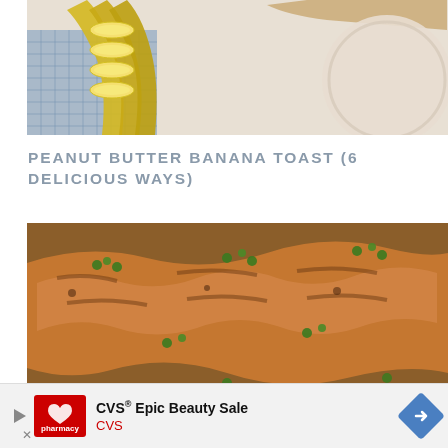[Figure (photo): Overhead photo of banana slices fanned out with a blue checkered cloth and round ceramic plate on a light background]
PEANUT BUTTER BANANA TOAST (6 DELICIOUS WAYS)
[Figure (photo): Close-up photo of sliced grilled or pan-seared seasoned chicken garnished with fresh cilantro/parsley]
[Figure (photo): Advertisement banner: CVS Epic Beauty Sale - CVS pharmacy logo with red background and navigation arrow]